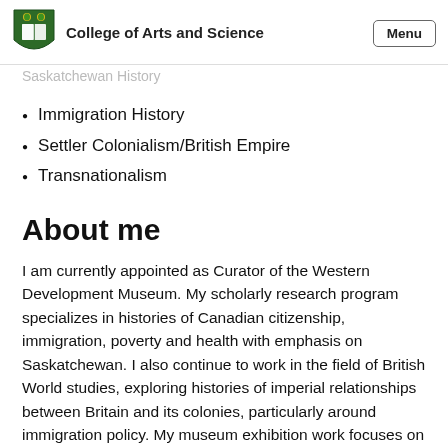College of Arts and Science
Saskatchewan History
Immigration History
Settler Colonialism/British Empire
Transnationalism
About me
I am currently appointed as Curator of the Western Development Museum. My scholarly research program specializes in histories of Canadian citizenship, immigration, poverty and health with emphasis on Saskatchewan. I also continue to work in the field of British World studies, exploring histories of imperial relationships between Britain and its colonies, particularly around immigration policy. My museum exhibition work focuses on histories of Reconciliation,